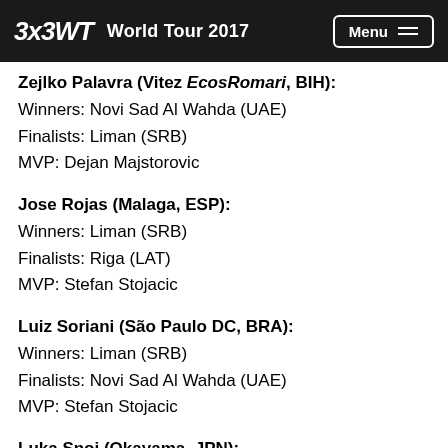3x3WT World Tour 2017
Zejlko Palavra (Vitez EcosRomari, BIH):
Winners: Novi Sad Al Wahda (UAE)
Finalists: Liman (SRB)
MVP: Dejan Majstorovic
Jose Rojas (Malaga, ESP):
Winners: Liman (SRB)
Finalists: Riga (LAT)
MVP: Stefan Stojacic
Luiz Soriani (São Paulo DC, BRA):
Winners: Liman (SRB)
Finalists: Novi Sad Al Wahda (UAE)
MVP: Stefan Stojacic
Luka Snoj (Okayama, JPN):
Winners: Novi Sad Al Wahda (UAE)